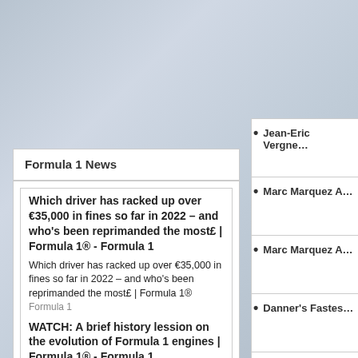Formula 1 News
Which driver has racked up over €35,000 in fines so far in 2022 – and who's been reprimanded the most£ | Formula 1® - Formula 1
Which driver has racked up over €35,000 in fines so far in 2022 – and who's been reprimanded the most£ | Formula 1®  Formula 1
WATCH: A brief history lession on the evolution of Formula 1 engines | Formula 1® - Formula 1
WATCH: A brief history lession on the evolution of Formula 1 engines | Formula 1®  Formula 1
FIA finalises 2026 Formula…
Jean-Eric Vergne…
Marc Marquez A…
Marc Marquez A…
Danner's Fastes…
Suzuka Virtual L…